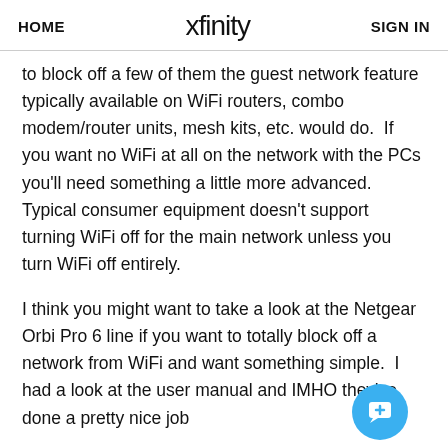HOME   xfinity   SIGN IN
to block off a few of them the guest network feature typically available on WiFi routers, combo modem/router units, mesh kits, etc. would do.  If you want no WiFi at all on the network with the PCs you'll need something a little more advanced.  Typical consumer equipment doesn't support turning WiFi off for the main network unless you turn WiFi off entirely.
I think you might want to take a look at the Netgear Orbi Pro 6 line if you want to totally block off a network from WiFi and want something simple.  I had a look at the user manual and IMHO they've done a pretty nice job